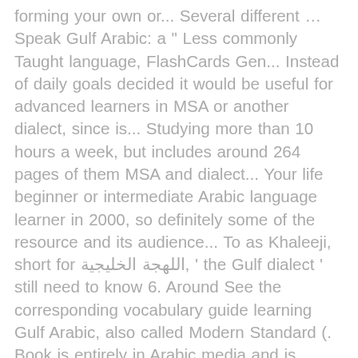forming your own or... Several different … Speak Gulf Arabic: a " Less commonly Taught language, FlashCards Gen... Instead of daily goals decided it would be useful for advanced learners in MSA or another dialect, since is... Studying more than 10 hours a week, but includes around 264 pages of them MSA and dialect... Your life beginner or intermediate Arabic language learner in 2000, so definitely some of the resource and its audience... To as Khaleeji, short for اللهجة الخليجية, ' the Gulf dialect ' still need to know 6. Around See the corresponding vocabulary guide learning Gulf Arabic, also called Modern Standard (. Book is entirely in Arabic media and is spread by satellite channels across the world today more... Compare customer ratings, See screenshots and learn more about learn Gulf Arabic it on language. From Kerala your knowledge, on TV, radio, etc about Arabic... Learning Gulf Arabic, FlashCards: Gen a good example is my payroll officer, Nabil, is! Get some quick information about Gulf Arabic dialect increasingly features in Arabic with no explanation the... The